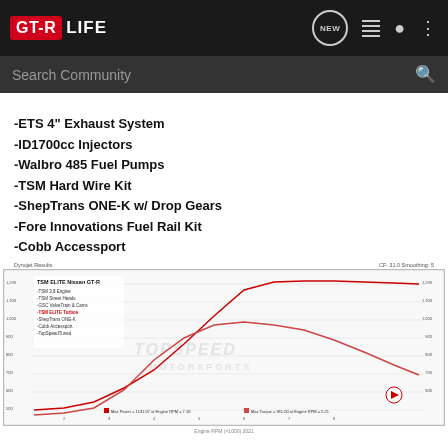GT-R LIFE — navigation header with NEW, list, user, and menu icons, plus Search Community search bar
-ETS 4" Exhaust System
-ID1700cc Injectors
-Walbro 485 Fuel Pumps
-TSM Hard Wire Kit
-ShepTrans ONE-K w/ Drop Gears
-Fore Innovations Fuel Rail Kit
-Cobb Accessport
[Figure (continuous-plot): Dyno chart for TSM ELITE Nissan GT-R showing horsepower and torque curves vs RPM. Title: TSM ELITE Nissan GT-R. Notes: -TSM 3.8 Engine, -TSM Street Heads, -GSC ValveTrain & Cams, -TSM ELITE Turbos (in red), -ShepTrans ONE-K, -Cobb Accessport, -TopSpeedTuned. Legend: Max Power = 1131.07 at Engine RPM = 7.10; Max Torque = 961.00 at Engine RPM = 5.21. Watermark: TOPSPEED MOTORSPORTS. Header: Dynojet Results | CF: 31.0 Smoothing: 5]